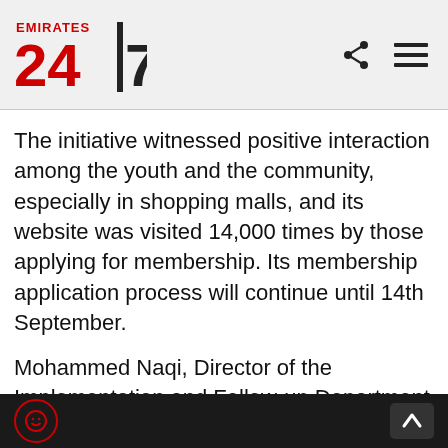Emirates 24|7 logo with share and menu icons
The initiative witnessed positive interaction among the youth and the community, especially in shopping malls, and its website was visited 14,000 times by those applying for membership. Its membership application process will continue until 14th September.
Mohammed Naqi, Director of the Implementation and Follow-up Department at the General Secretariat of the UAE Cabinet, said, "Introductory platforms have been launched in several commercial centres in both Abu Dhabi and Dubai, to inform young people and potential applicants about the required standards.'' "We aim to reach out to the largest
Bottom navigation bar